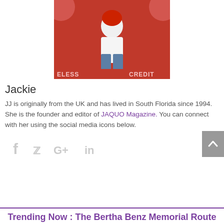[Figure (photo): A person standing in front of a red background with text 'ELESS' and 'CREDIT' partially visible at the bottom]
Jackie
JJ is originally from the UK and has lived in South Florida since 1994. She is the founder and editor of JAQUO Magazine. You can connect with her using the social media icons below.
[Figure (illustration): Social media icons: Facebook (f), Twitter (bird), Google+ (G+), LinkedIn (in)]
Trending Now : The Bertha Benz Memorial Route